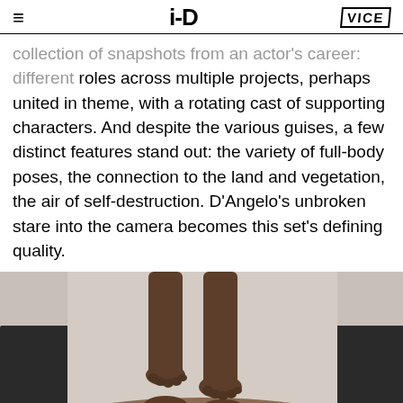i-D / VICE
collection of snapshots from an actor's career: different roles across multiple projects, perhaps united in theme, with a rotating cast of supporting characters. And despite the various guises, a few distinct features stand out: the variety of full-body poses, the connection to the land and vegetation, the air of self-destruction. D'Angelo's unbroken stare into the camera becomes this set's defining quality.
[Figure (photo): A person standing barefoot on the back of another person lying face down, photographed from above/side angle. The standing figure's feet press into the back of the prone figure who is shirtless, viewed in close-up.]